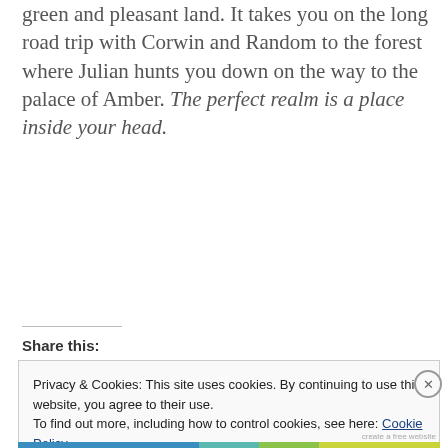green and pleasant land. It takes you on the long road trip with Corwin and Random to the forest where Julian hunts you down on the way to the palace of Amber. The perfect realm is a place inside your head.
Share this:
Privacy & Cookies: This site uses cookies. By continuing to use this website, you agree to their use.
To find out more, including how to control cookies, see here: Cookie Policy
Close and accept